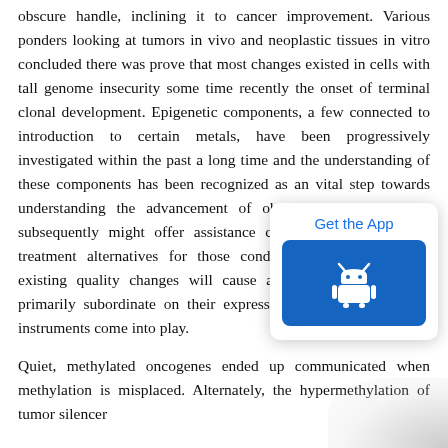obscure handle, inclining it to cancer improvement. Various ponders looking at tumors in vivo and neoplastic tissues in vitro concluded there was prove that most changes existed in cells with tall genome insecurity some time recently the onset of terminal clonal development. Epigenetic components, a few connected to introduction to certain metals, have been progressively investigated within the past a long time and the understanding of these components has been recognized as an vital step towards understanding the advancement of obsessive conditions and subsequently might offer assistance create determination and treatment alternatives for those conditions [2]. Whether the existing quality changes will cause an obvious deformity is primarily subordinate on their expression, which is where the instruments come into play.
[Figure (screenshot): Mobile app popup with 'Get the App' text and an Android icon button on blue background]
Quiet, methylated oncogenes ended up communicated when methylation is misplaced. Alternately, the hypermethylation of tumor silencer qualities can prevent the articulation of that